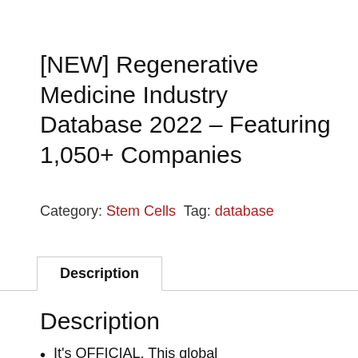[NEW] Regenerative Medicine Industry Database 2022 – Featuring 1,050+ Companies
Category: Stem Cells  Tag: database
Description
Description
It's OFFICIAL. This global